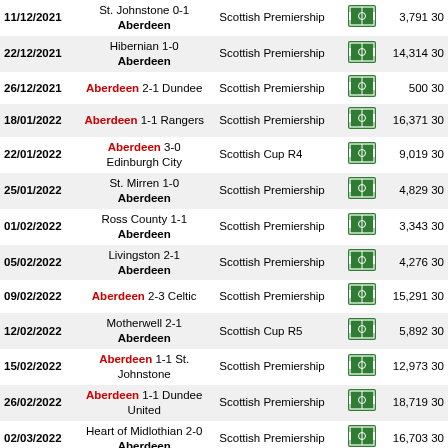| Date | Match | Competition | Icon | Attendance | ? |
| --- | --- | --- | --- | --- | --- |
| 11/12/2021 | St. Johnstone 0-1 Aberdeen | Scottish Premiership |  | 3,791 | 30 |
| 22/12/2021 | Hibernian 1-0 Aberdeen | Scottish Premiership |  | 14,314 | 30 |
| 26/12/2021 | Aberdeen 2-1 Dundee | Scottish Premiership |  | 500 | 30 |
| 18/01/2022 | Aberdeen 1-1 Rangers | Scottish Premiership |  | 16,371 | 30 |
| 22/01/2022 | Aberdeen 3-0 Edinburgh City | Scottish Cup R4 |  | 9,019 | 30 |
| 25/01/2022 | St. Mirren 1-0 Aberdeen | Scottish Premiership |  | 4,829 | 30 |
| 01/02/2022 | Ross County 1-1 Aberdeen | Scottish Premiership |  | 3,343 | 30 |
| 05/02/2022 | Livingston 2-1 Aberdeen | Scottish Premiership |  | 4,276 | 30 |
| 09/02/2022 | Aberdeen 2-3 Celtic | Scottish Premiership |  | 15,291 | 30 |
| 12/02/2022 | Motherwell 2-1 Aberdeen | Scottish Cup R5 |  | 5,892 | 30 |
| 15/02/2022 | Aberdeen 1-1 St. Johnstone | Scottish Premiership |  | 12,973 | 30 |
| 26/02/2022 | Aberdeen 1-1 Dundee United | Scottish Premiership |  | 18,719 | 30 |
| 02/03/2022 | Heart of Midlothian 2-0 Aberdeen | Scottish Premiership |  | 16,703 | 30 |
| 05/03/2022 | Rangers 1-0 Aberdeen | Scottish Premiership |  | 50,010 | 30 |
| 09/04/2022 | Aberdeen 0-1 Ross County | Scottish Premiership |  | 15,162 | 30 |
| 22/04/2022 | Aberdeen 1-2 … | Scottish Premiership |  | 12,229 | 30 |